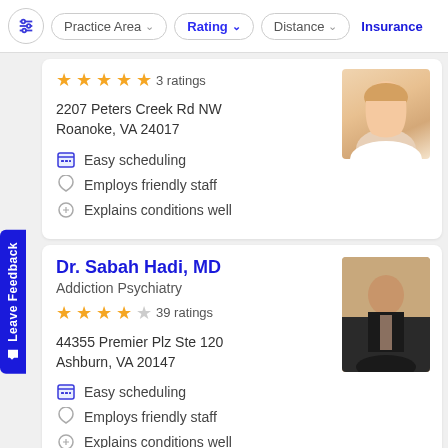Practice Area | Rating | Distance | Insurance
3 ratings
2207 Peters Creek Rd NW
Roanoke, VA 24017
Easy scheduling
Employs friendly staff
Explains conditions well
Dr. Sabah Hadi, MD
Addiction Psychiatry
39 ratings
44355 Premier Plz Ste 120
Ashburn, VA 20147
Easy scheduling
Employs friendly staff
Explains conditions well